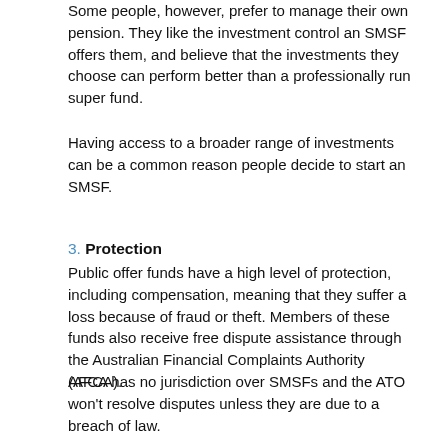Some people, however, prefer to manage their own pension. They like the investment control an SMSF offers them, and believe that the investments they choose can perform better than a professionally run super fund.
Having access to a broader range of investments can be a common reason people decide to start an SMSF.
3. Protection
Public offer funds have a high level of protection, including compensation, meaning that they suffer a loss because of fraud or theft. Members of these funds also receive free dispute assistance through the Australian Financial Complaints Authority (AFCA).
AFCA has no jurisdiction over SMSFs and the ATO won't resolve disputes unless they are due to a breach of law.
In order to avoid a dispute between trustees, SMSFs are advised to include a dispute resolution plan in their trust deed. Other dispute resolution methods include mediation or a